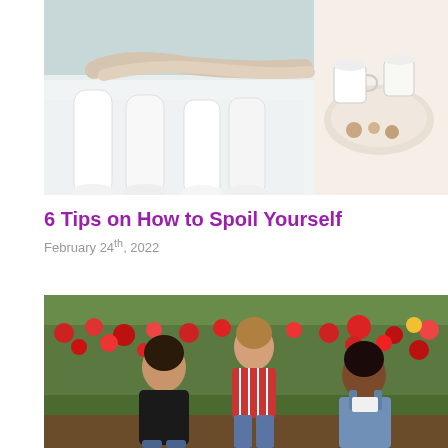[Figure (photo): Overhead view of two people lying on a white bed/blanket with white socks visible, holding mugs with small food items on a plate nearby. Light, cozy aesthetic.]
6 Tips on How to Spoil Yourself
February 24th, 2022
[Figure (photo): Three young women sitting outdoors in a tulip field with red and other colored tulips in the background. They are laughing and chatting together, wearing casual clothes including jeans.]